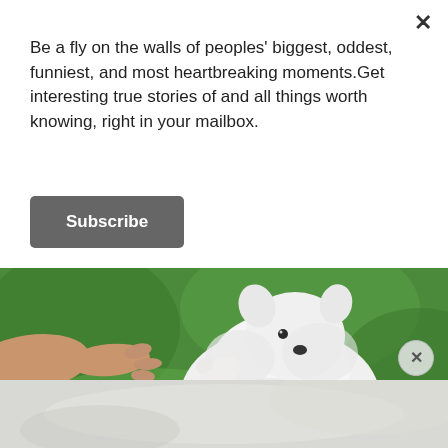Be a fly on the walls of peoples' biggest, oddest, funniest, and most heartbreaking moments.Get interesting true stories of and all things worth knowing, right in your mailbox.
Subscribe
[Figure (photo): A white fluffy Pomeranian puppy being hand-fed a treat on green grass. The puppy has its paw raised toward the hand.]
[Figure (photo): Bottom strip showing a blurred light-colored bokeh background, likely continuation of the scene below.]